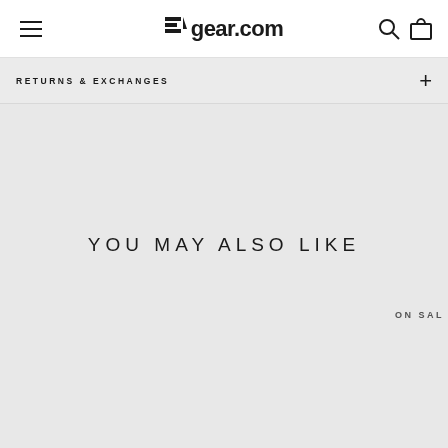gear.com
RETURNS & EXCHANGES
YOU MAY ALSO LIKE
ON SALE